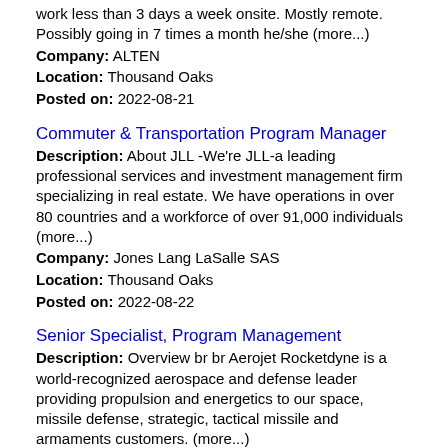work less than 3 days a week onsite. Mostly remote. Possibly going in 7 times a month he/she (more...)
Company: ALTEN
Location: Thousand Oaks
Posted on: 2022-08-21
Commuter & Transportation Program Manager
Description: About JLL -We're JLL-a leading professional services and investment management firm specializing in real estate. We have operations in over 80 countries and a workforce of over 91,000 individuals (more...)
Company: Jones Lang LaSalle SAS
Location: Thousand Oaks
Posted on: 2022-08-22
Senior Specialist, Program Management
Description: Overview br br Aerojet Rocketdyne is a world-recognized aerospace and defense leader providing propulsion and energetics to our space, missile defense, strategic, tactical missile and armaments customers. (more...)
Company: Aerojet Rocketdyne
Location: Canoga Park
Posted on: 2022-08-19
Senior Analyst, Project Management
Description: Overview br br Aerojet Rocketdyne is a world-recognized aerospace and defense leader that provides propulsion systems and energetics to space and defense